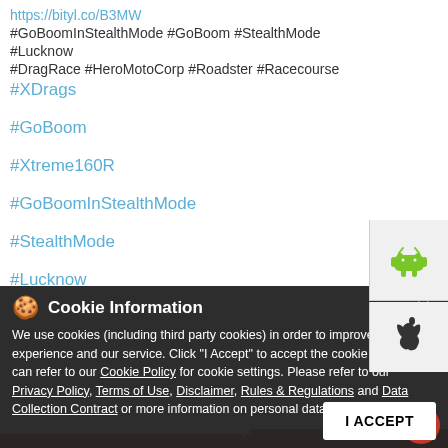https://bityl.co/B3MW #GoBoomInStealthMode #GoBoom #StealthMode #Lucknow #DragRace #HeroMotoCorp #Roadster #Racecourse
#XDrags
#GoBoom
#Xtreme160R
#GoBoomInStealthMode
#StealthMode
#Lucknow
#DragRace
#HeroMotoCorp
#Roadster
#Racecourse
[Figure (screenshot): Android app store button icon (green robot)]
[Figure (screenshot): Apple App Store button icon (apple logo)]
Cookie Information
We use cookies (including third party cookies) in order to improve your experience and our service. Click "I Accept" to accept the cookie usage. You can refer to our Cookie Policy for cookie settings. Please refer to our Privacy Policy, Terms of Use, Disclaimer, Rules & Regulations and Data Collection Contract or more information on personal data usage.
E-Shop